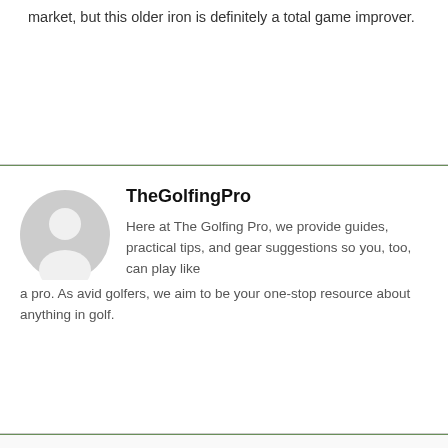market, but this older iron is definitely a total game improver.
TheGolfingPro
Here at The Golfing Pro, we provide guides, practical tips, and gear suggestions so you, too, can play like a pro. As avid golfers, we aim to be your one-stop resource about anything in golf.
[Figure (illustration): Gray circular avatar/profile placeholder icon]
Share 0
Tweet
Save